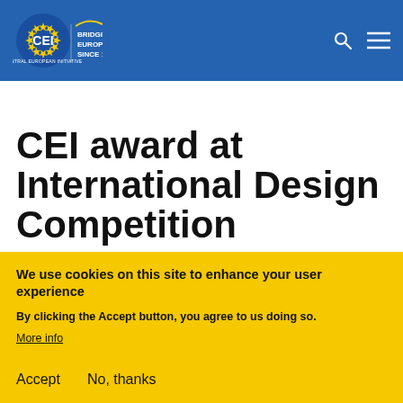[Figure (logo): CEI Central European Initiative logo with EU stars emblem and 'Bridging Europe Since 1989' tagline on blue header bar with search and menu icons]
CEI award at International Design Competition
We use cookies on this site to enhance your user experience
By clicking the Accept button, you agree to us doing so.
More info
Accept    No, thanks